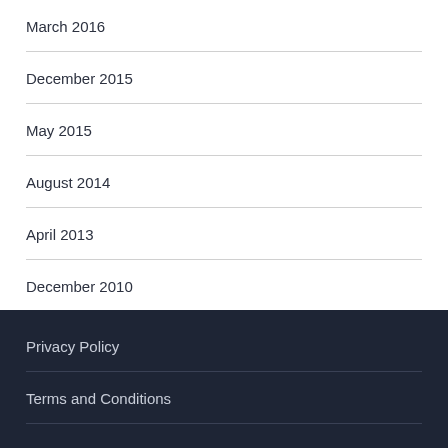March 2016
December 2015
May 2015
August 2014
April 2013
December 2010
Privacy Policy
Terms and Conditions